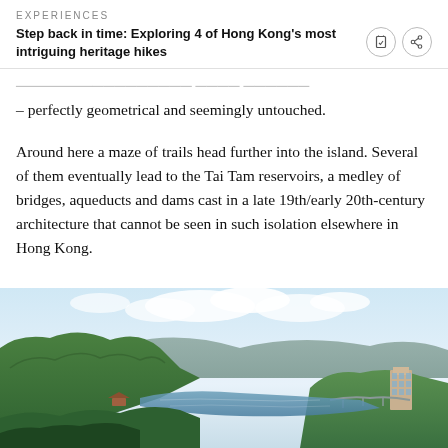Experiences
Step back in time: Exploring 4 of Hong Kong's most intriguing heritage hikes
– perfectly geometrical and seemingly untouched.
Around here a maze of trails head further into the island. Several of them eventually lead to the Tai Tam reservoirs, a medley of bridges, aqueducts and dams cast in a late 19th/early 20th-century architecture that cannot be seen in such isolation elsewhere in Hong Kong.
[Figure (photo): Aerial landscape view of Tai Tam reservoir area in Hong Kong, showing green forested hills, blue reservoir water, distant mountains, and buildings on the right shore under a partly cloudy sky.]